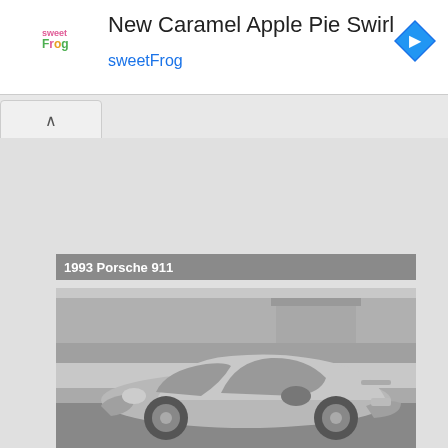[Figure (screenshot): SweetFrog advertisement banner with logo, title 'New Caramel Apple Pie Swirl', subtitle 'sweetFrog', and a blue navigation diamond icon]
[Figure (photo): Black and white photograph of a 1993 Porsche 911 sports car parked on a street with trees and a house in the background]